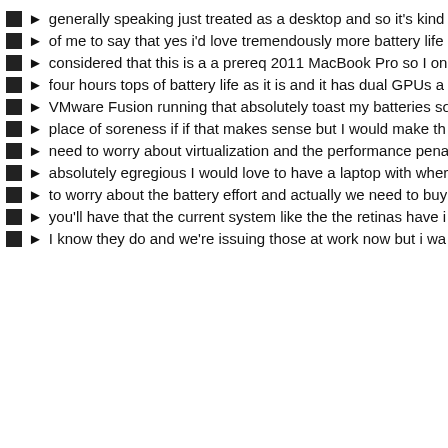generally speaking just treated as a desktop and so it's kind
of me to say that yes i'd love tremendously more battery life
considered that this is a a prereq 2011 MacBook Pro so I on
four hours tops of battery life as it is and it has dual GPUs a
VMware Fusion running that absolutely toast my batteries so
place of soreness if if that makes sense but I would make th
need to worry about virtualization and the performance pena
absolutely egregious I would love to have a laptop with wher
to worry about the battery effort and actually we need to buy
you'll have that the current system like the the retinas have i
I know they do and we're issuing those at work now but i wa